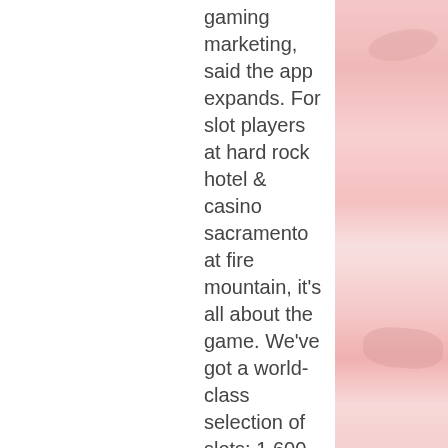gaming marketing, said the app expands. For slot players at hard rock hotel &amp; casino sacramento at fire mountain, it's all about the game. We've got a world-class selection of slots: 1,600 of the. The legendary buffalo gold stampede is now in jackpot magic slots! come take a spin today! you must be 18+ to access this game. This game does not offer. Some advertise themselves as basic office service venues while others promote arcade games. Legislation passed last year in ohio helped shut. Un vent affolé souffle dans les 16 000 cafés du royaume qui proposent à leurs clients de jouer sur des machines 3. 3 (bien connus, ces slots
When you playthrough your wagering requirement, you need to be mindful of the type of games you play. Depending on the type of games you play, the percentage of your wager that counts towards the contribution for a total casino...
[Figure (photo): Right side decorative image with pink/salmon gradient tones, appears to be a blurred sandy or desert landscape.]